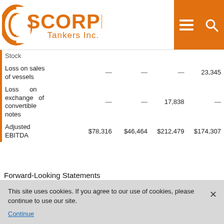Scorpio Tankers Inc.
|  |  |  |  |  |
| --- | --- | --- | --- | --- |
| Stock |  |  |  |  |
| Loss on sales of vessels | — | — | — | 23,345 |
| Loss on exchange of convertible notes | — | — | 17,838 | — |
| Adjusted EBITDA | $78,316 | $46,464 | $212,479 | $174,307 |
Forward-Looking Statements
Matters discussed in this press release may constitute forward-looking statements. The Private Securities Litigation
This site uses cookies. If you agree to our use of cookies, please continue to use our site.
Continue